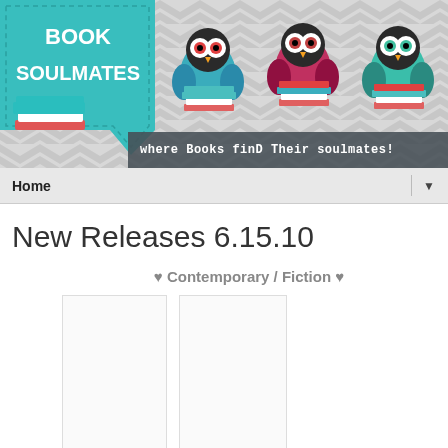[Figure (illustration): Book Soulmates blog banner with chevron pattern background, teal ribbon with 'BOOK SOULMATES' text, illustrated owls on book stacks, and tagline 'where books find their soulmates!']
Home ▼
New Releases 6.15.10
♥ Contemporary / Fiction ♥
[Figure (illustration): Two blank book cover placeholder images side by side]